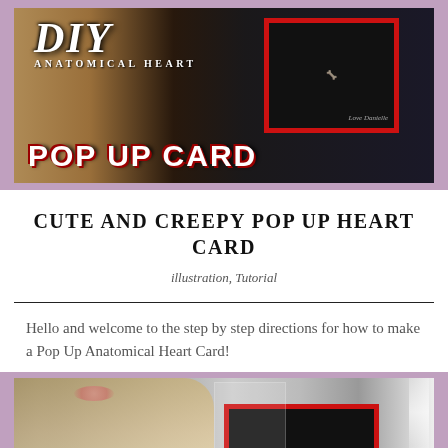[Figure (photo): Person holding a DIY Anatomical Heart Pop Up Card. Dark background with red card frame and skeleton hand illustration. Overlay text reads 'DIY Anatomical Heart POP UP CARD']
CUTE AND CREEPY POP UP HEART CARD
illustration, Tutorial
Hello and welcome to the step by step directions for how to make a Pop Up Anatomical Heart Card!
[Figure (photo): Blonde person with flower crown holding an open red Pop Up Anatomical Heart Card showing black interior, surrounded by art and anatomy posters in background, ring light visible on right.]